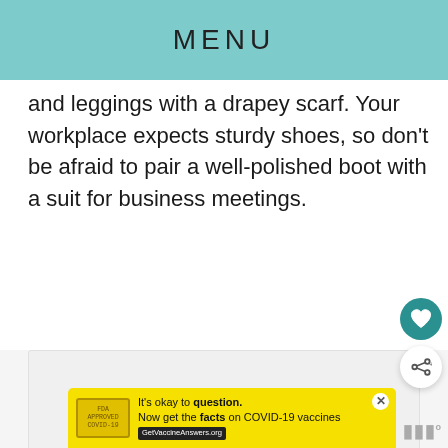MENU
and leggings with a drapey scarf. Your workplace expects sturdy shoes, so don't be afraid to pair a well-polished boot with a suit for business meetings.
[Figure (other): Gray placeholder content card area with three dots indicating a slideshow/carousel]
[Figure (other): Teal circular button with heart icon (favorite/like button)]
[Figure (other): White circular button with share icon]
[Figure (other): Yellow advertisement banner: It's okay to question. Now get the facts on COVID-19 vaccines. GetVaccineAnswers.org. With a stamp-style logo on left and close X button. WM logo bottom right.]